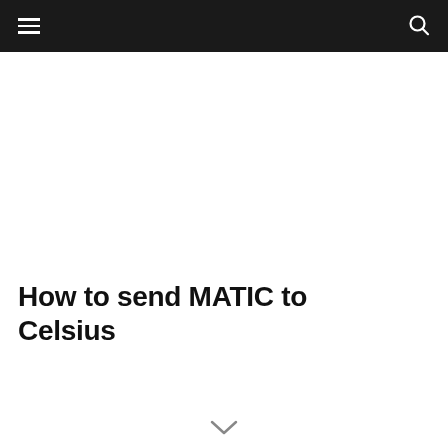Navigation bar with hamburger menu and search icon
How to send MATIC to Celsius